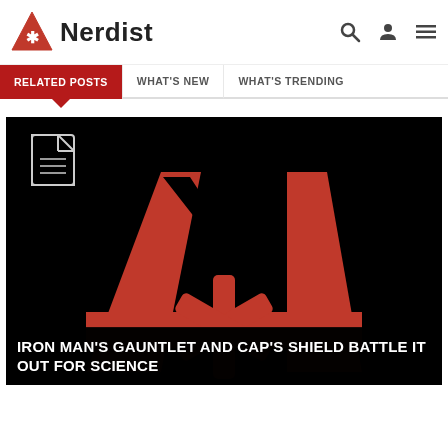Nerdist
RELATED POSTS
WHAT'S NEW
WHAT'S TRENDING
[Figure (logo): Nerdist logo: red triangle with asterisk symbol inside, with large red letter A shape on black background forming article card image]
IRON MAN'S GAUNTLET AND CAP'S SHIELD BATTLE IT OUT FOR SCIENCE